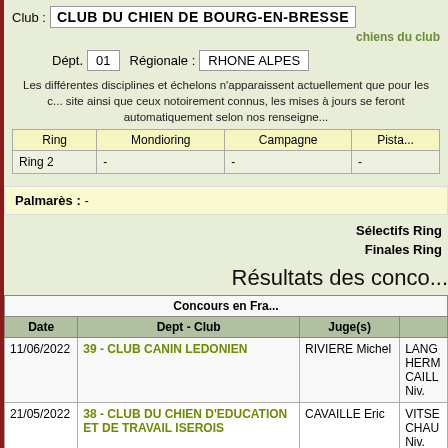Club : CLUB DU CHIEN DE BOURG-EN-BRESSE
chiens du club
Dépt. 01   Régionale : RHONE ALPES
Les différentes disciplines et échelons n'apparaissent actuellement que pour les chiens inscrits sur le site ainsi que ceux notoirement connus, les mises à jours se feront automatiquement selon nos renseignements.
| Ring | Mondioring | Campagne | Pista... |
| --- | --- | --- | --- |
| Ring 2 | - | - | - |
Palmarès : -
Sélectifs Ring
Finales Ring
Résultats des concours
| Date | Dept - Club | Juge(s) |  |
| --- | --- | --- | --- |
| 11/06/2022 | 39 - CLUB CANIN LEDONIEN | RIVIERE Michel | LANG HERM CAILL Niv. |
| 21/05/2022 | 38 - CLUB DU CHIEN D'EDUCATION ET DE TRAVAIL ISEROIS | CAVAILLE Eric | VITSE CHAU Niv. Niv. |